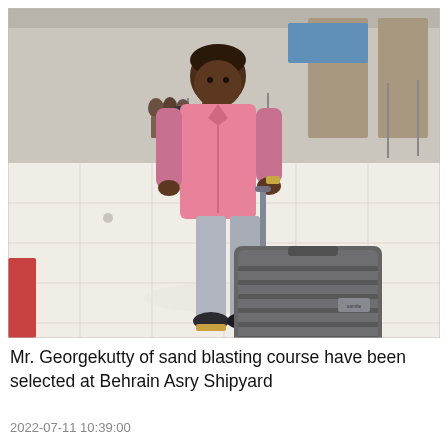[Figure (photo): A man wearing a pink shirt and light grey jeans stands in an airport terminal holding a large dark grey rolling suitcase. He has a black backpack over his shoulder. The airport floor is white tiled and there are other people visible in the background.]
Mr. Georgekutty of sand blasting course have been selected at Behrain Asry Shipyard
2022-07-11 10:39:00